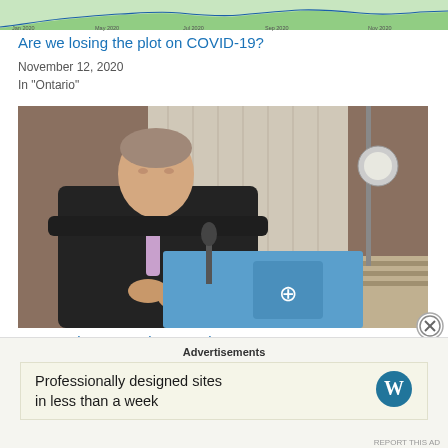[Figure (continuous-plot): Partial line chart strip showing COVID-19 data trend over time (Jan 2020 to Nov 2020), with a green filled area and a blue line on top. X-axis labels include Jan 2020, May 2020, Jul 2020, Sep 2020, Nov 2020.]
Are we losing the plot on COVID-19?
November 12, 2020
In "Ontario"
[Figure (photo): Photograph of a man in a dark suit with a light purple tie, standing at a podium with a blue Ontario government crest shield logo, in front of white curtains with studio lighting equipment visible.]
We're going to need a new plan
October 31, 2020
In "Ontario"
Advertisements
[Figure (other): WordPress advertisement banner: 'Professionally designed sites in less than a week' with WordPress logo (W in circle).]